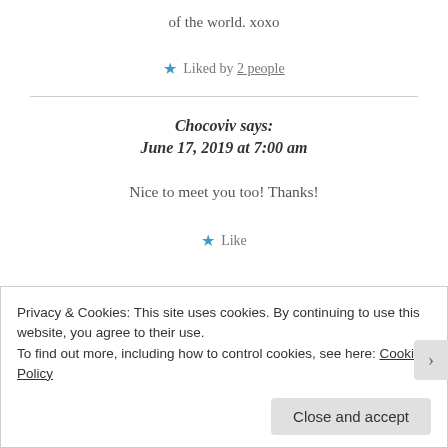of the world. xoxo
★ Liked by 2 people
Chocoviv says:
June 17, 2019 at 7:00 am
Nice to meet you too! Thanks!
★ Like
Privacy & Cookies: This site uses cookies. By continuing to use this website, you agree to their use.
To find out more, including how to control cookies, see here: Cookie Policy
Close and accept